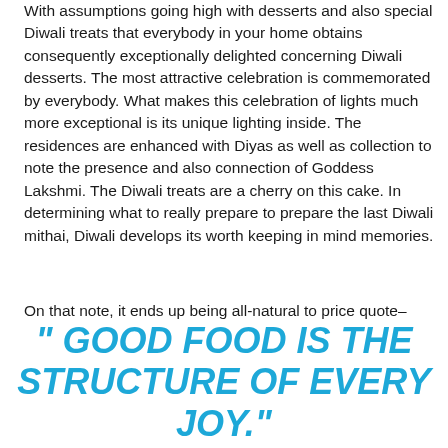With assumptions going high with desserts and also special Diwali treats that everybody in your home obtains consequently exceptionally delighted concerning Diwali desserts. The most attractive celebration is commemorated by everybody. What makes this celebration of lights much more exceptional is its unique lighting inside. The residences are enhanced with Diyas as well as collection to note the presence and also connection of Goddess Lakshmi. The Diwali treats are a cherry on this cake. In determining what to really prepare to prepare the last Diwali mithai, Diwali develops its worth keeping in mind memories.
On that note, it ends up being all-natural to price quote–
" GOOD FOOD IS THE STRUCTURE OF EVERY JOY."